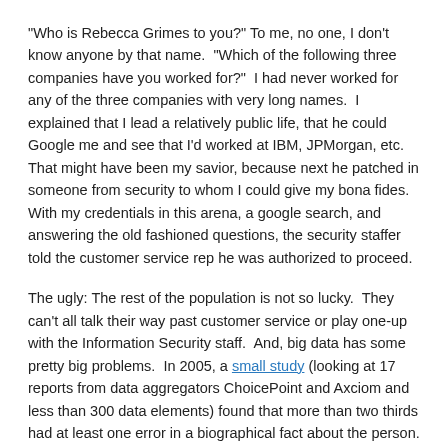"Who is Rebecca Grimes to you?" To me, no one, I don't know anyone by that name.  "Which of the following three companies have you worked for?"  I had never worked for any of the three companies with very long names.  I explained that I lead a relatively public life, that he could Google me and see that I'd worked at IBM, JPMorgan, etc. That might have been my savior, because next he patched in someone from security to whom I could give my bona fides.  With my credentials in this arena, a google search, and answering the old fashioned questions, the security staffer told the customer service rep he was authorized to proceed.
The ugly: The rest of the population is not so lucky.  They can't all talk their way past customer service or play one-up with the Information Security staff.  And, big data has some pretty big problems.  In 2005, a small study (looking at 17 reports from data aggregators ChoicePoint and Axciom and less than 300 data elements) found that more than two thirds had at least one error in a biographical fact about the person. In that same year, Adam Shostack, a well regarded information risk professional, pointed out that Choicepoint had defined away it's error rate by only considering errors in the transmission between the collector and Choicepoint, thus asserting an error rate of .0008%.